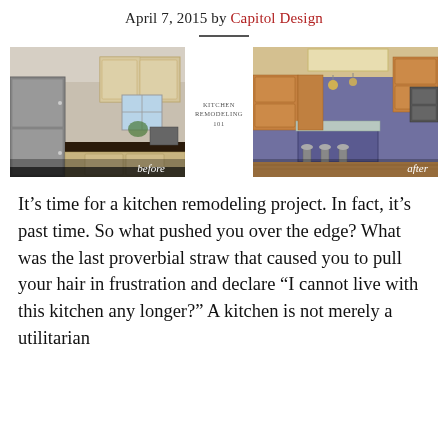April 7, 2015 by Capitol Design
[Figure (photo): Before and after kitchen remodeling photos side by side. Left photo shows a kitchen labeled 'before' with light wood cabinets and stainless steel refrigerator. Right photo shows the remodeled kitchen labeled 'after' with warm wood cabinets and purple accent island.]
It’s time for a kitchen remodeling project. In fact, it’s past time. So what pushed you over the edge? What was the last proverbial straw that caused you to pull your hair in frustration and declare “I cannot live with this kitchen any longer?” A kitchen is not merely a utilitarian